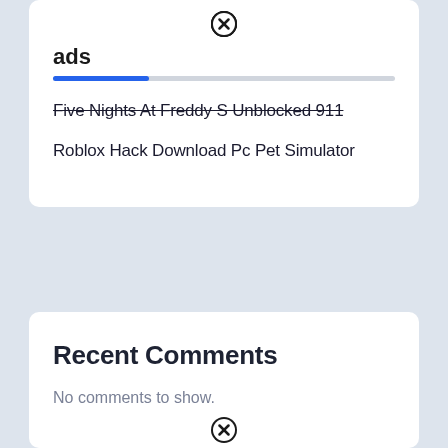[Figure (other): Close/dismiss icon - circle with X]
ads
Five Nights At Freddy S Unblocked 911
Roblox Hack Download Pc Pet Simulator
Recent Comments
No comments to show.
[Figure (other): Close/dismiss icon - circle with X at bottom]